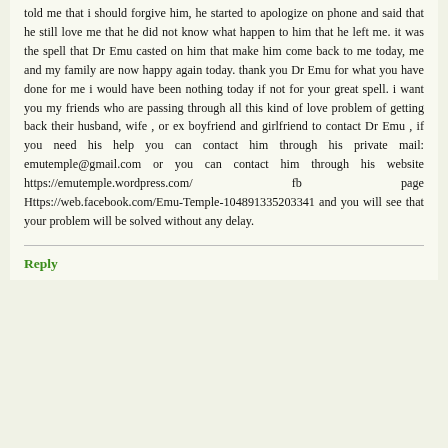told me that i should forgive him, he started to apologize on phone and said that he still love me that he did not know what happen to him that he left me. it was the spell that Dr Emu casted on him that make him come back to me today, me and my family are now happy again today. thank you Dr Emu for what you have done for me i would have been nothing today if not for your great spell. i want you my friends who are passing through all this kind of love problem of getting back their husband, wife , or ex boyfriend and girlfriend to contact Dr Emu , if you need his help you can contact him through his private mail: emutemple@gmail.com or you can contact him through his website https://emutemple.wordpress.com/ fb page Https://web.facebook.com/Emu-Temple-104891335203341 and you will see that your problem will be solved without any delay.
Reply